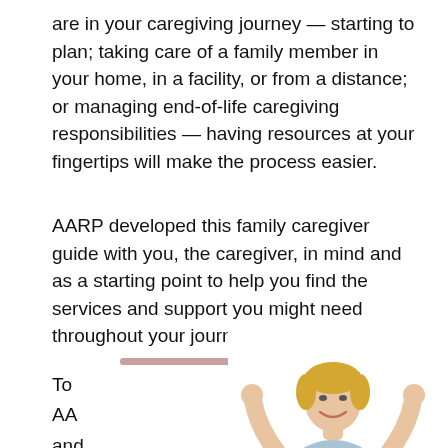are in your caregiving journey — starting to plan; taking care of a family member in your home, in a facility, or from a distance; or managing end-of-life caregiving responsibilities — having resources at your fingertips will make the process easier.
AARP developed this family caregiver guide with you, the caregiver, in mind and as a starting point to help you find the services and support you might need throughout your journey.
To AA and co
[Figure (photo): Woman sitting cross-legged with laptop, raising both fists in celebration, wearing light blue shirt and jeans, with short blonde hair]